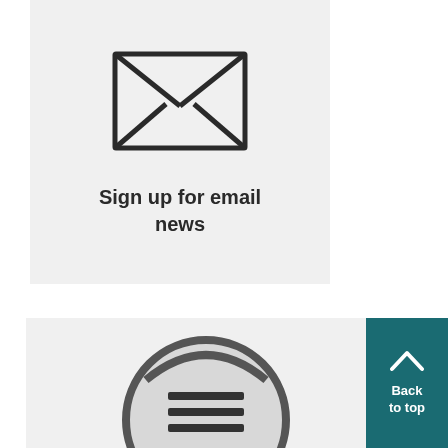[Figure (illustration): Email envelope icon (outline style with X cross lines inside) above 'Sign up for email news' text, on a light grey card background]
Sign up for email news
[Figure (illustration): Partial view of a search/document icon (circular magnifier over lined document) on a light grey card background, with a teal 'Back to top' button with upward chevron arrow in the corner]